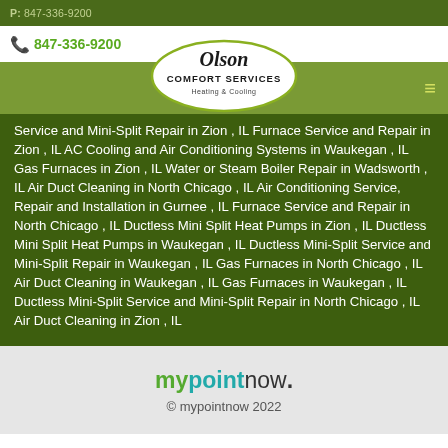P: 847-336-9200
847-336-9200
[Figure (logo): Olson Comfort Services Heating & Cooling logo — oval shape with script 'Olson' and block 'Comfort Services' text]
Service and Mini-Split Repair in Zion , IL Furnace Service and Repair in Zion , IL AC Cooling and Air Conditioning Systems in Waukegan , IL Gas Furnaces in Zion , IL Water or Steam Boiler Repair in Wadsworth , IL Air Duct Cleaning in North Chicago , IL Air Conditioning Service, Repair and Installation in Gurnee , IL Furnace Service and Repair in North Chicago , IL Ductless Mini Split Heat Pumps in Zion , IL Ductless Mini Split Heat Pumps in Waukegan , IL Ductless Mini-Split Service and Mini-Split Repair in Waukegan , IL Gas Furnaces in North Chicago , IL Air Duct Cleaning in Waukegan , IL Gas Furnaces in Waukegan , IL Ductless Mini-Split Service and Mini-Split Repair in North Chicago , IL Air Duct Cleaning in Zion , IL
[Figure (logo): mypointnow. logo in green and teal text]
© mypointnow 2022